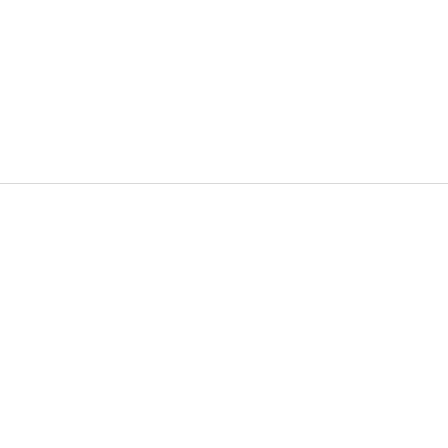So, just jump in the elevator, email us at [email] tweet us at @StBootstrapper, or heck, just [continues]